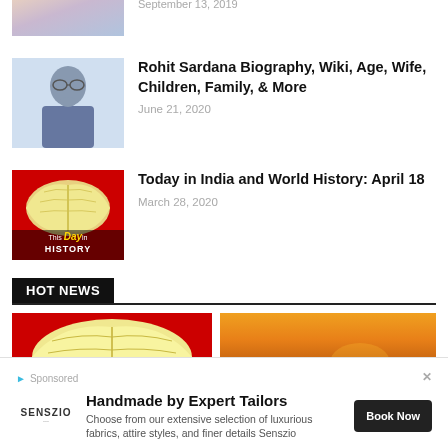[Figure (photo): Partial thumbnail image at top, partially cut off, showing sky/clouds]
September 13, 2019
[Figure (photo): Thumbnail of Rohit Sardana, a man wearing glasses with hand on chin]
Rohit Sardana Biography, Wiki, Age, Wife, Children, Family, & More
June 21, 2020
[Figure (photo): Thumbnail with red background showing This Day in History book graphic with April 18 History text]
Today in India and World History: April 18
March 28, 2020
HOT NEWS
[Figure (photo): Hot news image 1: open book with red background]
[Figure (photo): Hot news image 2: sunset scene with silhouettes]
Handmade by Expert Tailors
Choose from our extensive selection of luxurious fabrics, attire styles, and finer details Senszio
Book Now